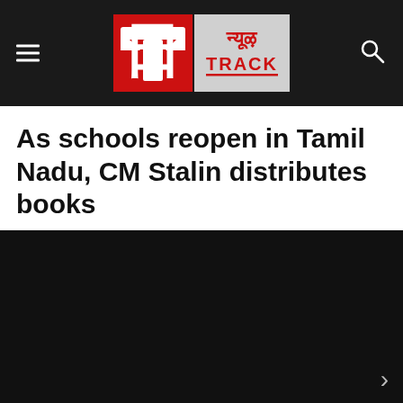News Track
As schools reopen in Tamil Nadu, CM Stalin distributes books
By P C Thomas  Nov 01 2021 02:49 PM  Education
[Figure (photo): Dark background image area (video/photo placeholder) with a right arrow navigation control at bottom right]